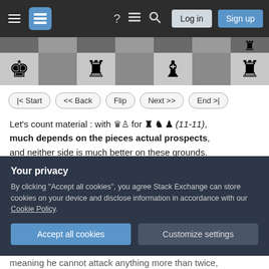Stack Exchange navigation bar with hamburger menu, logo, help, chat, search icons, Log in and Sign up buttons
[Figure (other): Chess board strip showing pieces: white king, black rook, black bishop with cross, black rook on alternating dark/light squares]
|< Start  << Back  Flip  Next >>  End >|
Let's count material : with queen+bishop for rook+knight+pawn (11-11), much depends on the pieces actual prospects, and neither side is much better on these grounds.
White's case is simpler : the pawn g2 belongs to f4, but it wouldn't be misplaced at e3, attacking a
Your privacy
By clicking "Accept all cookies", you agree Stack Exchange can store cookies on your device and disclose information in accordance with our Cookie Policy.
Accept all cookies  Customize settings
meaning he cannot attack anything more than twice,